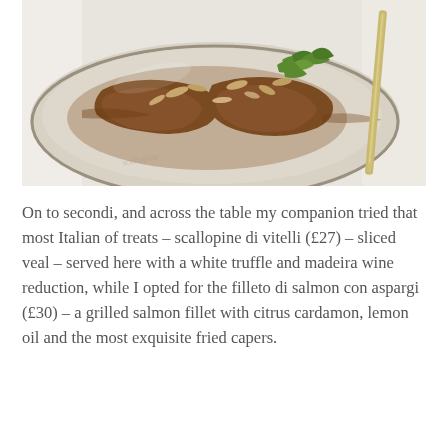[Figure (photo): A close-up food photograph of scallopine di vitelli (sliced veal) with a rich brown sauce and sliced almonds on a rustic ceramic plate, garnished with green arugula leaves, with a knife visible to the right on a white tablecloth background.]
On to secondi, and across the table my companion tried that most Italian of treats – scallopine di vitelli (£27) – sliced veal – served here with a white truffle and madeira wine reduction, while I opted for the filleto di salmon con aspargi (£30) – a grilled salmon fillet with citrus cardamon, lemon oil and the most exquisite fried capers.